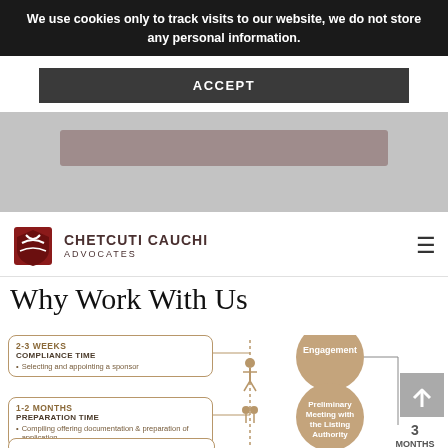We use cookies only to track visits to our website, we do not store any personal information.
ACCEPT
[Figure (logo): Chetcuti Cauchi Advocates logo with red geometric shield icon]
Why Work With Us
[Figure (infographic): Process infographic showing engagement steps with timeline: 2-3 WEEKS COMPLIANCE TIME (Selecting and appointing a sponsor) -> Engagement bubble, 1-2 MONTHS PREPARATION TIME (Compiling offering documentation & preparation of application) -> Preliminary Meeting with the Listing Authority bubble, Submit Application for Admissibility of Listing bubble. 3 MONTHS total timeline shown on right.]